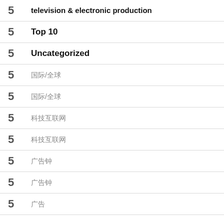5  television & electronic production
5  Top 10
5  Uncategorized
5  [CJK text]
5  [CJK text]
5  [CJK text]
5  [CJK text]
5  [CJK text]
5  [CJK text]
5  [CJK text]